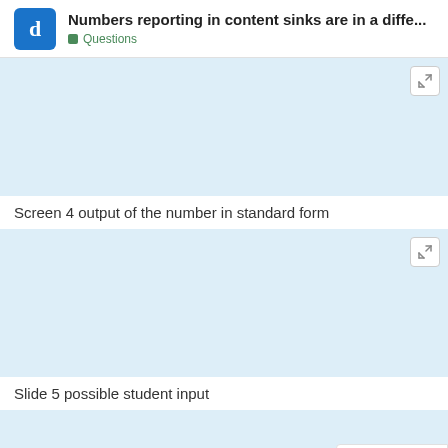Numbers reporting in content sinks are in a diffe... | Questions
[Figure (screenshot): Light blue image block representing Screen 4 output of the number in standard form]
Screen 4 output of the number in standard form
[Figure (screenshot): Light blue image block representing Slide 5 possible student input]
Slide 5 possible student input
1 / 4